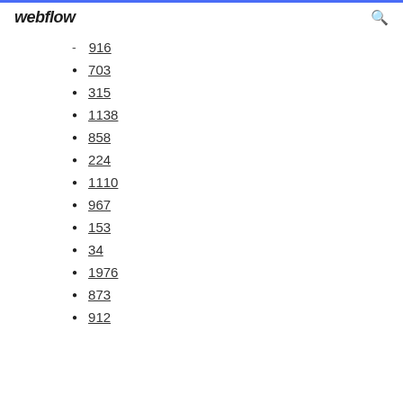webflow
916
703
315
1138
858
224
1110
967
153
34
1976
873
912